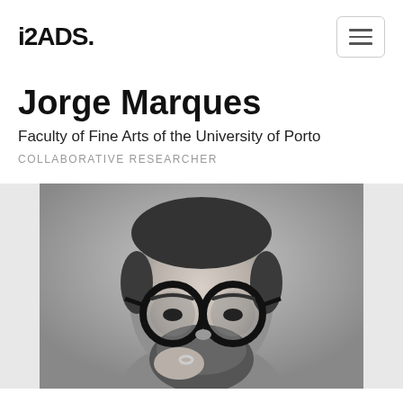i2ADS.
Jorge Marques
Faculty of Fine Arts of the University of Porto
COLLABORATIVE RESEARCHER
[Figure (photo): Black and white close-up photo of a bearded man with round dark-rimmed glasses, resting his hand near his face, wearing a ring.]